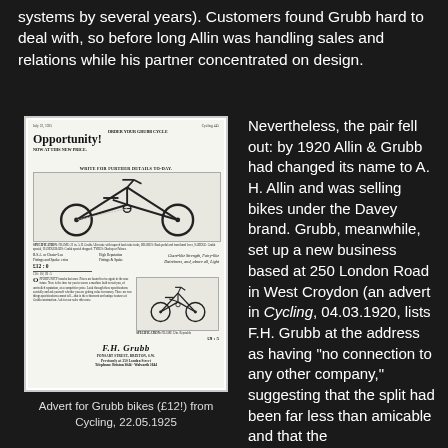systems by several years). Customers found Grubb hard to deal with, so before long Allin was handling sales and relations while his partner concentrated on design.
[Figure (photo): Black and white vintage newspaper advertisement for Grubb bicycles showing two bicycle illustrations, the heading 'Opportunity!', prices including £12:0 and £8:5, and F.H. Grubb branding with address at Ponsart Street, Brixton]
Advert for Grubb bikes (£12!) from Cycling, 22.05.1925
Nevertheless, the pair fell out: by 1920 Allin & Grubb had changed its name to A. H. Allin and was selling bikes under the Davey brand. Grubb, meanwhile, set up a new business based at 250 London Road in West Croydon (an advert in Cycling, 04.03.1920, lists F.H. Grubb at the address as having "no connection to any other company," suggesting that the split had been far less than amicable and that the